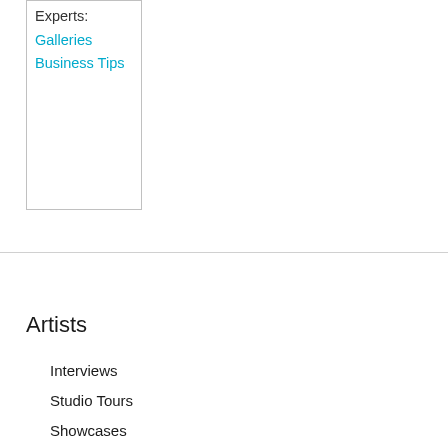Experts:
Galleries
Business Tips
Artists
Interviews
Studio Tours
Showcases